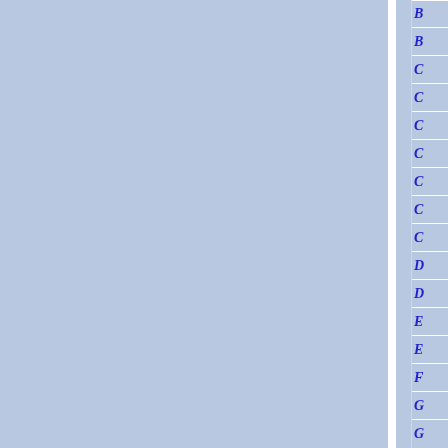[Figure (other): Blue-gray background panels with white dividers forming a two-column layout, with a right-side index column showing italic bold blue alphabetical letters B, B, C, C, C, C, C, C, C, D, D, E, E, F, G, G]
B
B
C
C
C
C
C
C
C
D
D
E
E
F
G
G